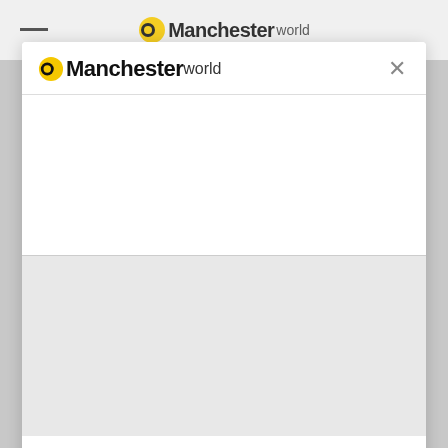[Figure (logo): ManchesterWorld logo partially visible at top of page behind modal overlay, showing yellow circle and bold Manchester text]
[Figure (logo): ManchesterWorld logo in modal header with yellow/black circle icon, bold Manchester text and lighter World text, with X close button]
Ardwick, West Gorton and Belle Vue, you would need a deposit of around £7,800.